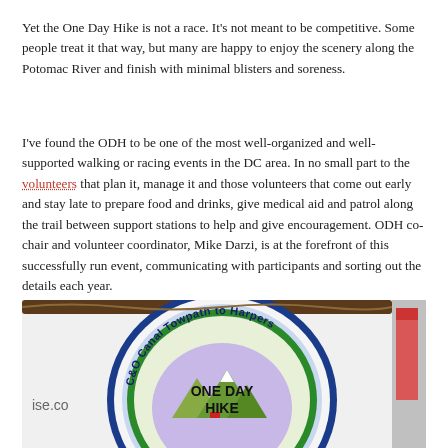Yet the One Day Hike is not a race. It's not meant to be competitive. Some people treat it that way, but many are happy to enjoy the scenery along the Potomac River and finish with minimal blisters and soreness.
I've found the ODH to be one of the most well-organized and well-supported walking or racing events in the DC area. In no small part to the volunteers that plan it, manage it and those volunteers that come out early and stay late to prepare food and drinks, give medical aid and patrol along the trail between support stations to help and give encouragement. ODH co-chair and volunteer coordinator, Mike Darzi, is at the forefront of this successfully run event, communicating with participants and sorting out the details each year.
[Figure (photo): A circular event sign reading 'C&O Canal Towpath to Harpers Ferry ONE DAY HIKE' with a colorful outdoor scene illustration, hung on a white vehicle with a red tail light visible on the right.]